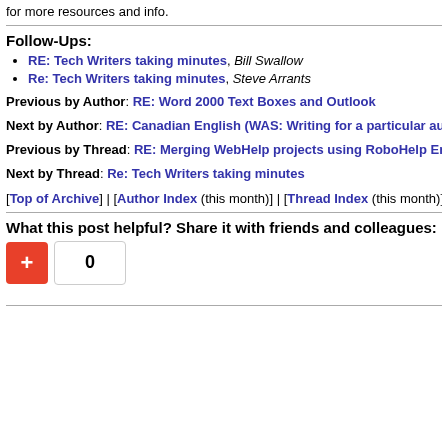for more resources and info.
Follow-Ups:
RE: Tech Writers taking minutes, Bill Swallow
Re: Tech Writers taking minutes, Steve Arrants
Previous by Author: RE: Word 2000 Text Boxes and Outlook
Next by Author: RE: Canadian English (WAS: Writing for a particular audience
Previous by Thread: RE: Merging WebHelp projects using RoboHelp Enterpr
Next by Thread: Re: Tech Writers taking minutes
[Top of Archive] | [Author Index (this month)] | [Thread Index (this month)]
What this post helpful? Share it with friends and colleagues:
[Figure (other): Social sharing widget with red plus button and count box showing 0]